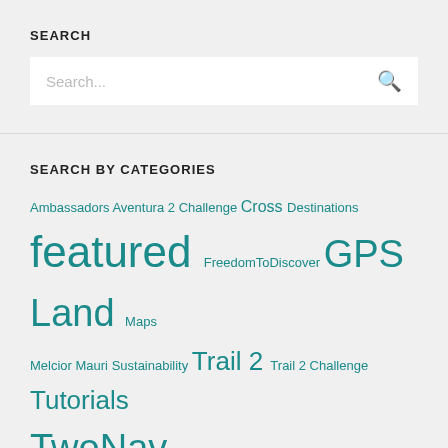SEARCH
[Figure (screenshot): Search input box with placeholder text 'Search...' and a magnifying glass icon on the right]
SEARCH BY CATEGORIES
Ambassadors Aventura 2 Challenge Cross Destinations featured FreedomToDiscover GPS Land Maps Melcior Mauri Sustainability Trail 2 Trail 2 Challenge Tutorials TwoNav